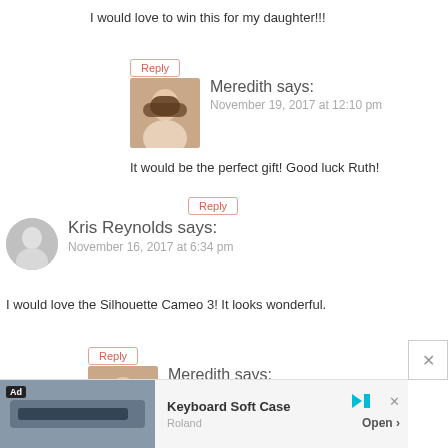I would love to win this for my daughter!!!
Reply
Meredith says:
November 19, 2017 at 12:10 pm
It would be the perfect gift! Good luck Ruth!
Reply
Kris Reynolds says:
November 16, 2017 at 6:34 pm
I would love the Silhouette Cameo 3! It looks wonderful.
Reply
Meredith says:
November 19, 2017 at 12:12 pm
[Figure (infographic): Ad banner for Keyboard Soft Case by Roland with Open button]